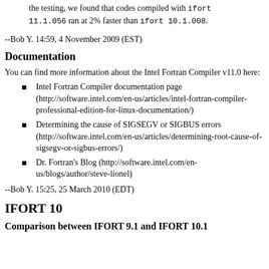the testing, we found that codes compiled with ifort 11.1.056 ran at 2% faster than ifort 10.1.008.
--Bob Y. 14:59, 4 November 2009 (EST)
Documentation
You can find more information about the Intel Fortran Compiler v11.0 here:
Intel Fortran Compiler documentation page (http://software.intel.com/en-us/articles/intel-fortran-compiler-professional-edition-for-linux-documentation/)
Determining the cause of SIGSEGV or SIGBUS errors (http://software.intel.com/en-us/articles/determining-root-cause-of-sigsegv-or-sigbus-errors/)
Dr. Fortran's Blog (http://software.intel.com/en-us/blogs/author/steve-lionel)
--Bob Y. 15:25, 25 March 2010 (EDT)
IFORT 10
Comparison between IFORT 9.1 and IFORT 10.1